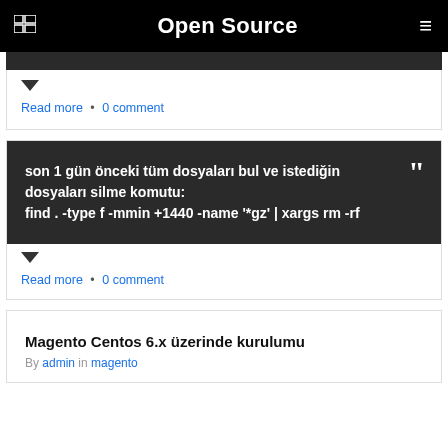Open Source
Read more • 0 comment
son 1 gün önceki tüm dosyaları bul ve istediğin dosyaları silme komutu: find . -type f -mmin +1440 -name '*gz' | xargs rm -rf
Read more • 0 comment
Magento Centos 6.x üzerinde kurulumu
By admin in magento